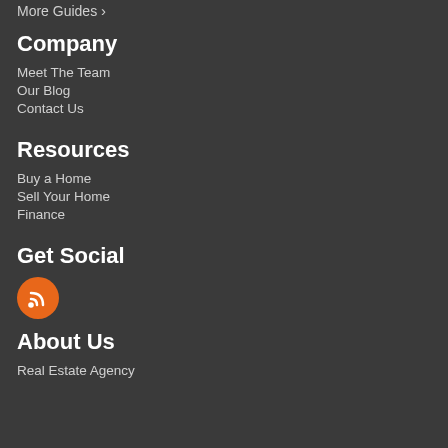More Guides ›
Company
Meet The Team
Our Blog
Contact Us
Resources
Buy a Home
Sell Your Home
Finance
Get Social
[Figure (illustration): Orange circular RSS feed icon]
About Us
Real Estate Agency